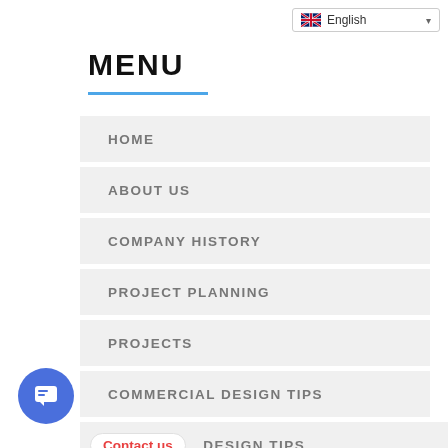English
MENU
HOME
ABOUT US
COMPANY HISTORY
PROJECT PLANNING
PROJECTS
COMMERCIAL DESIGN TIPS
Contact us   DESIGN TIPS
HOSPITALITY DESIGN TIPS